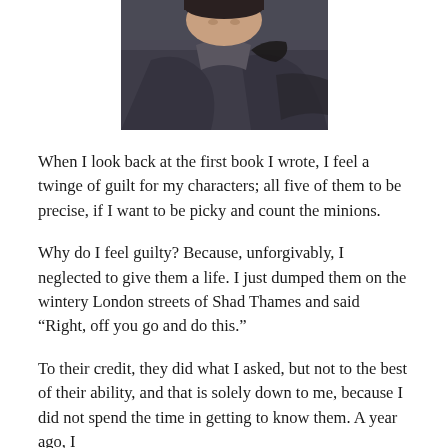[Figure (photo): Black and white or muted-color photograph showing the top portion of a person's face and body, wearing a grey/dark jacket, with a hand visible near their shoulder. The image is cropped at the top of the page.]
When I look back at the first book I wrote, I feel a twinge of guilt for my characters; all five of them to be precise, if I want to be picky and count the minions.
Why do I feel guilty? Because, unforgivably, I neglected to give them a life. I just dumped them on the wintery London streets of Shad Thames and said “Right, off you go and do this.”
To their credit, they did what I asked, but not to the best of their ability, and that is solely down to me, because I did not spend the time in getting to know them. A year ago, I